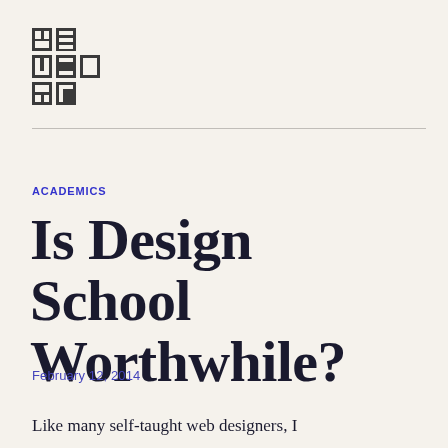[Figure (logo): Visual grid logo made of dark gray rectangles arranged in a 2x3 grid pattern with partial fills spelling VIS UAL RIT or similar]
ACADEMICS
Is Design School Worthwhile?
February 12, 2014
Like many self-taught web designers, I